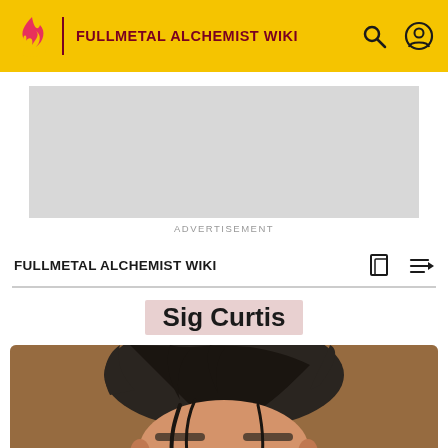FULLMETAL ALCHEMIST WIKI
[Figure (other): Advertisement placeholder gray box]
ADVERTISEMENT
FULLMETAL ALCHEMIST WIKI
Sig Curtis
[Figure (illustration): Anime illustration of Sig Curtis character, showing dark hair from top/side angle, tan/brown background]